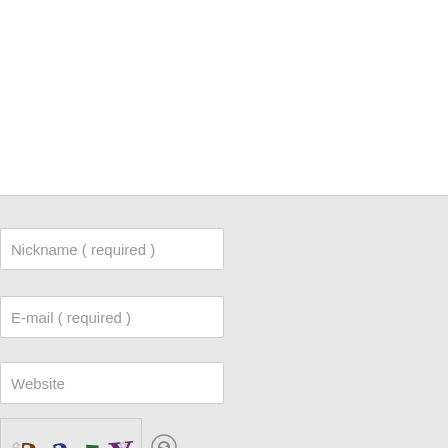[Figure (screenshot): White blank area representing a comment/text input area at the top of the page]
Nickname ( required )
E-mail ( required )
Website
[Figure (other): CAPTCHA image showing distorted characters '3 3 5 Y' with decorative patterns, followed by a refresh icon]